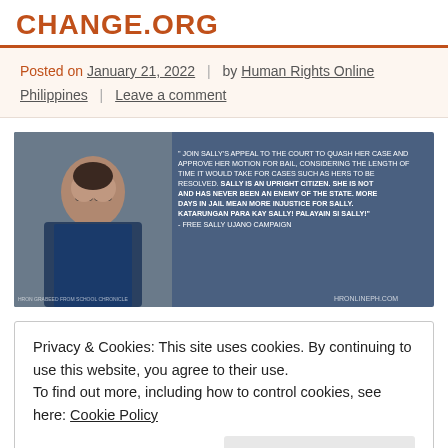CHANGE.ORG
Posted on January 21, 2022  |  by Human Rights Online Philippines  |  Leave a comment
[Figure (photo): Promotional image with a woman wearing glasses on the left and a blue overlay on the right with text: " JOIN SALLY'S APPEAL TO THE COURT TO QUASH HER CASE AND APPROVE HER MOTION FOR BAIL, CONSIDERING THE LENGTH OF TIME IT WOULD TAKE FOR CASES SUCH AS HERS TO BE RESOLVED. SALLY IS AN UPRIGHT CITIZEN. SHE IS NOT AND HAS NEVER BEEN AN ENEMY OF THE STATE. MORE DAYS IN JAIL MEAN MORE INJUSTICE FOR SALLY. KATARUNGAN PARA KAY SALLY! PALAYAIN SI SALLY!" - FREE SALLY UJANO CAMPAIGN. HRONLINEPH.COM]
Privacy & Cookies: This site uses cookies. By continuing to use this website, you agree to their use.
To find out more, including how to control cookies, see here: Cookie Policy
Follow ...